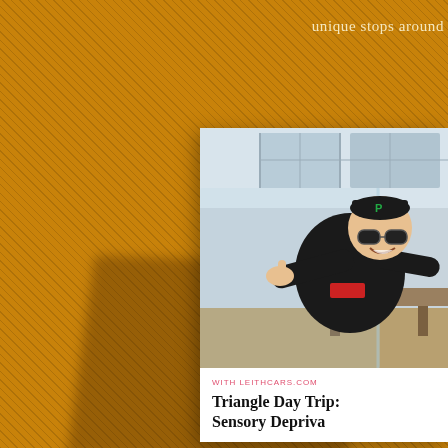unique stops around
[Figure (photo): Orange/golden textured diagonal-stripe background with shadow shapes suggesting a window or furniture silhouette]
[Figure (photo): Polaroid-style card showing a person in a black jumpsuit, goggles, and cap giving a thumbs up inside what appears to be an indoor skydiving wind tunnel facility]
WITH LEITHCARS.COM
Triangle Day Trip: Sensory Depriva